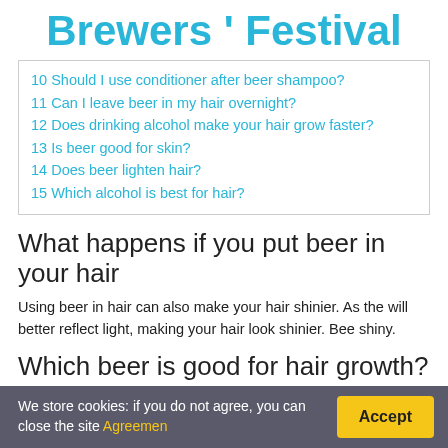Brewers ' Festival
10 Should I use conditioner after beer shampoo?
11 Can I leave beer in my hair overnight?
12 Does drinking alcohol make your hair grow faster?
13 Is beer good for skin?
14 Does beer lighten hair?
15 Which alcohol is best for hair?
What happens if you put beer in your hair
Using beer in hair can also make your hair shinier. As the will better reflect light, making your hair look shinier. Bee shiny.
Which beer is good for hair growth?
We store cookies: if you do not agree, you can close the site Agreemen
Accept